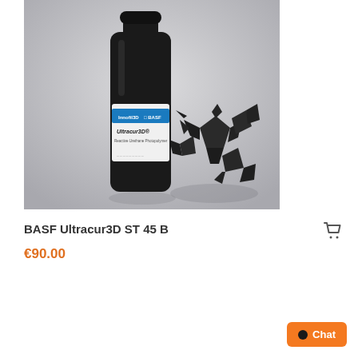[Figure (photo): BASF Ultracur3D ST 45 B product photo showing a black bottle with white label and blue stripe, alongside black 3D printed star-shaped lattice parts on a grey background]
BASF Ultracur3D ST 45 B
€90.00